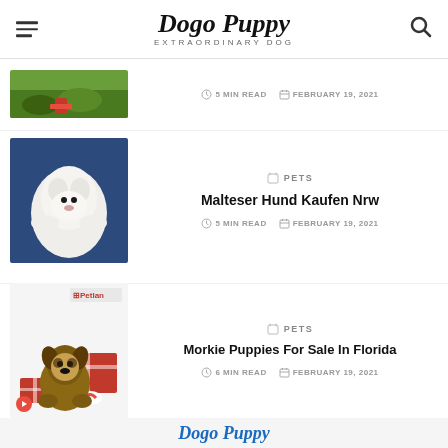Dogo Puppy — EXTRAORDINARY DOG
[Figure (photo): Dog with red toy in green grass]
5 MIN READ   FEBRUARY 19, 2021
[Figure (photo): White fluffy Maltese puppy being held in hands]
PETS
Malteser Hund Kaufen Nrw
5 MIN READ   FEBRUARY 19, 2021
[Figure (photo): Small Morkie puppy with Petlan branding and red Christmas gifts]
PETS
Morkie Puppies For Sale In Florida
6 MIN READ   FEBRUARY 19, 2021
Dogo Puppy